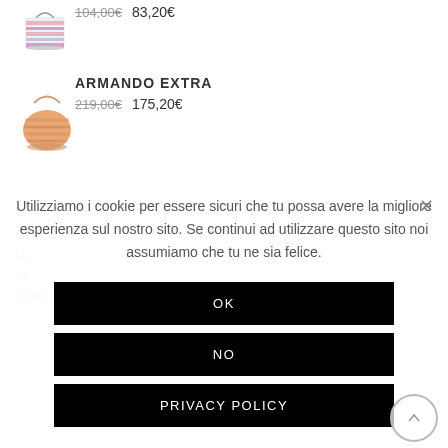104,00€  83,20€
[Figure (photo): Pink striped woven handbag thumbnail]
ARMANDO EXTRA
219,00€  175,20€
[Figure (photo): Orange/tan striped woven tote bag thumbnail]
Utilizziamo i cookie per essere sicuri che tu possa avere la migliore esperienza sul nostro sito. Se continui ad utilizzare questo sito noi assumiamo che tu ne sia felice.
OK
NO
PRIVACY POLICY